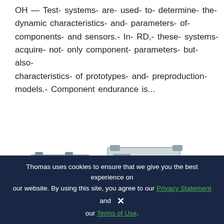OH — Test- systems- are- used- to- determine- the- dynamic characteristics- and- parameters- of- components- and sensors.- In- RD,- these- systems- acquire- not- only component- parameters- but- also- characteristics- of prototypes- and- preproduction- models.- Component endurance is...
Read More »
[Figure (photo): Multiple industrial variable frequency drives / inverters of various sizes arranged in a group photograph]
Thomas uses cookies to ensure that we give you the best experience on our website. By using this site, you agree to our Privacy Statement and our Terms of Use.